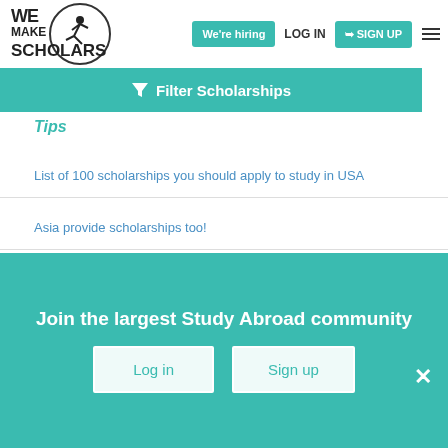We Make Scholars | We're hiring | LOG IN | SIGN UP
Filter Scholarships
Tips
List of 100 scholarships you should apply to study in USA
Asia provide scholarships too!
The Ultimate guide on applying for scholarships
Top 10 fully funded scholarships that will cover all your expenses
13 Popular Scholarships you could never miss to be in USA
Join the largest Study Abroad community | Log in | Sign up